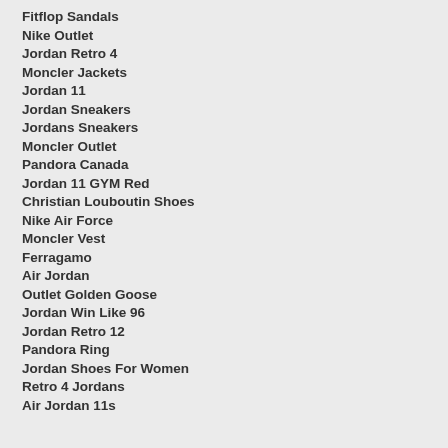Fitflop Sandals
Nike Outlet
Jordan Retro 4
Moncler Jackets
Jordan 11
Jordan Sneakers
Jordans Sneakers
Moncler Outlet
Pandora Canada
Jordan 11 GYM Red
Christian Louboutin Shoes
Nike Air Force
Moncler Vest
Ferragamo
Air Jordan
Outlet Golden Goose
Jordan Win Like 96
Jordan Retro 12
Pandora Ring
Jordan Shoes For Women
Retro 4 Jordans
Air Jordan 11s